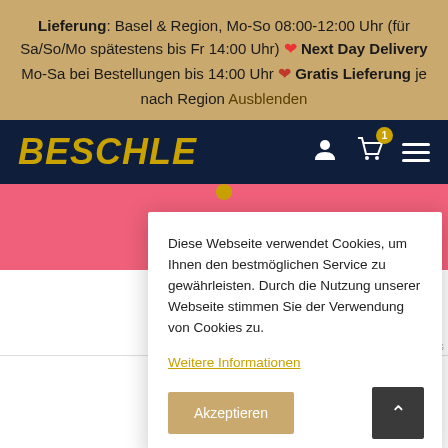Lieferung: Basel & Region, Mo-So 08:00-12:00 Uhr (für Sa/So/Mo spätestens bis Fr 14:00 Uhr) ❤ Next Day Delivery Mo-Sa bei Bestellungen bis 14:00 Uhr ❤ Gratis Lieferung je nach Region Ausblenden
[Figure (screenshot): Beschle website navigation bar with gold italic BESCHLE logo, user icon, shopping cart icon with badge showing 1, and hamburger menu on dark navy background]
Diese Webseite verwendet Cookies, um Ihnen den bestmöglichen Service zu gewährleisten. Durch die Nutzung unserer Webseite stimmen Sie der Verwendung von Cookies zu.
Weitere Informationen
Akzeptieren